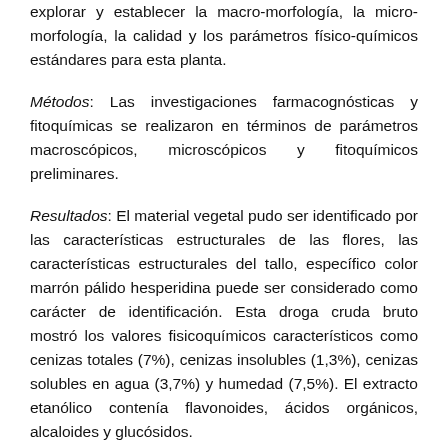explorar y establecer la macro-morfología, la micro-morfología, la calidad y los parámetros físico-químicos estándares para esta planta.
Métodos: Las investigaciones farmacognósticas y fitoquímicas se realizaron en términos de parámetros macroscópicos, microscópicos y fitoquímicos preliminares.
Resultados: El material vegetal pudo ser identificado por las características estructurales de las flores, las características estructurales del tallo, específico color marrón pálido hesperidina puede ser considerado como carácter de identificación. Esta droga cruda bruto mostró los valores fisicoquímicos característicos como cenizas totales (7%), cenizas insolubles (1,3%), cenizas solubles en agua (3,7%) y humedad (7,5%). El extracto etanólico contenía flavonoides, ácidos orgánicos, alcaloides y glucósidos.